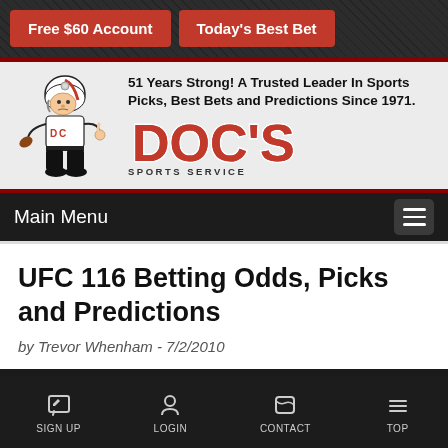[Figure (screenshot): Doc's Sports Service website screenshot showing navigation buttons, logo with mascot, main menu bar, article title, and bottom navigation bar]
Free $60 Account
Today's Best Bet
51 Years Strong! A Trusted Leader In Sports Picks, Best Bets and Predictions Since 1971.
DOC'S SPORTS SERVICE
Main Menu
UFC 116 Betting Odds, Picks and Predictions
by Trevor Whenham - 7/2/2010
SIGN UP  LOGIN  CONTACT  TOP